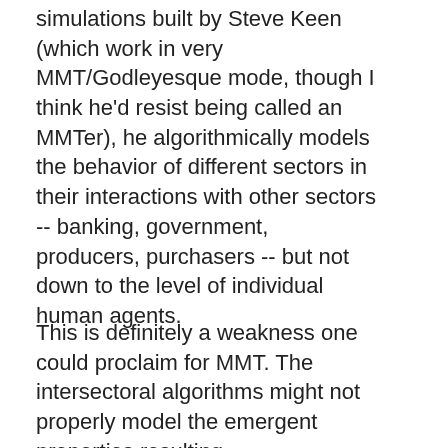simulations built by Steve Keen (which work in very MMT/Godleyesque mode, though I think he'd resist being called an MMTer), he algorithmically models the behavior of different sectors in their interactions with other sectors -- banking, government, producers, purchasers -- but not down to the level of individual human agents.
This is definitely a weakness one could proclaim for MMT. The intersectoral algorithms might not properly model the emergent properties resulting from individual decisions.